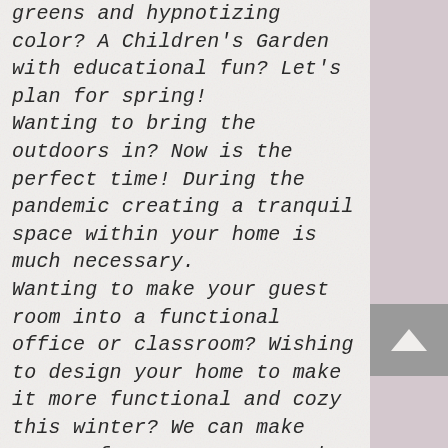greens and hypnotizing color? A Children's Garden with educational fun? Let's plan for spring! Wanting to bring the outdoors in? Now is the perfect time! During the pandemic creating a tranquil space within your home is much necessary. Wanting to make your guest room into a functional office or classroom? Wishing to design your home to make it more functional and cozy this winter? We can make sense of your space to make it a perfect place! Designing homes & gardens for a healthier, active, & inspired lifestyle is our goal to make our clients' lives more efficient and happy. It's time to feel better in the space you're in + Potted Perfection is here to make the new project you are looking to invest in a little easier financially! Remember, the first consult is always complimentary. YES WE TRAVEL!